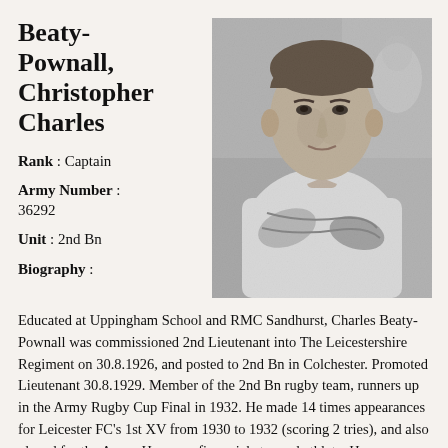Beaty-Pownall, Christopher Charles
Rank : Captain
Army Number : 36292
Unit : 2nd Bn
Biography :
[Figure (photo): Black and white photograph of Christopher Charles Beaty-Pownall, a man in a white shirt with arms crossed, looking slightly to the side.]
Educated at Uppingham School and RMC Sandhurst, Charles Beaty-Pownall was commissioned 2nd Lieutenant into The Leicestershire Regiment on 30.8.1926, and posted to 2nd Bn in Colchester. Promoted Lieutenant 30.8.1929. Member of the 2nd Bn rugby team, runners up in the Army Rugby Cup Final in 1932. He made 14 times appearances for Leicester FC's 1st XV from 1930 to 1932 (scoring 2 tries), and also played for the Army. He was a fine cricketer and athlete. He was posted to the